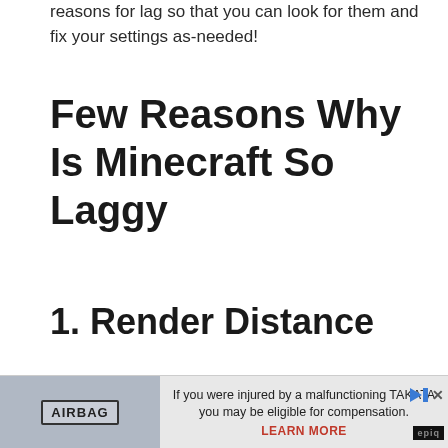reasons for lag so that you can look for them and fix your settings as-needed!
Few Reasons Why Is Minecraft So Laggy
1. Render Distance
[Figure (other): Advertisement banner showing an airbag with text: If you were injured by a malfunctioning TAKATA you may be eligible for compensation. LEARN MORE. Epic logo bottom right.]